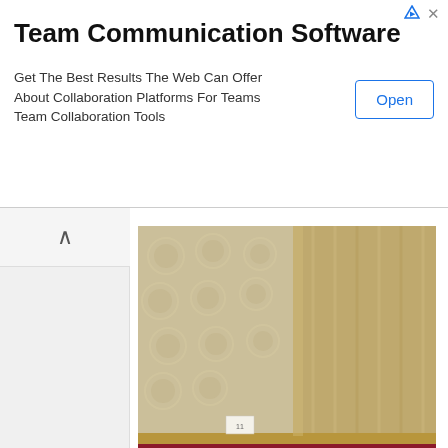[Figure (screenshot): Advertisement banner for 'Team Communication Software' with an Open button]
Team Communication Software
Get The Best Results The Web Can Offer About Collaboration Platforms For Teams Team Collaboration Tools
[Figure (photo): Photo of a gold and cream silk saree fabric with woven motifs and a red border, shown folded/pleated]
Chiffons and Georgettes
Be all the more careful with 'light as air' chiffons and the 'drape like dream' georgettes as they are woven very lightly. Tears are common due to over usage of pins or hanging them for too long.